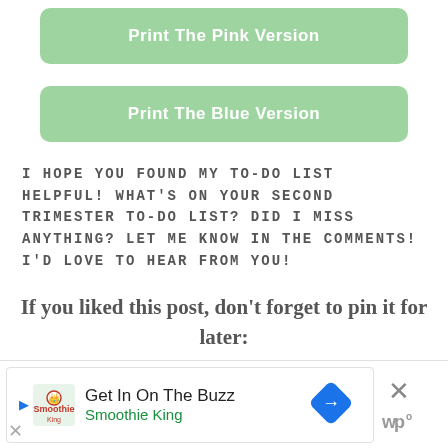[Figure (other): Green button: Print The Pink Version]
[Figure (other): Green button: Print The Blue Version]
I HOPE YOU FOUND MY TO-DO LIST HELPFUL! WHAT'S ON YOUR SECOND TRIMESTER TO-DO LIST? DID I MISS ANYTHING? LET ME KNOW IN THE COMMENTS! I'D LOVE TO HEAR FROM YOU!
If you liked this post, don't forget to pin it for later:
[Figure (other): Advertisement banner for Smoothie King: Get In On The Buzz]